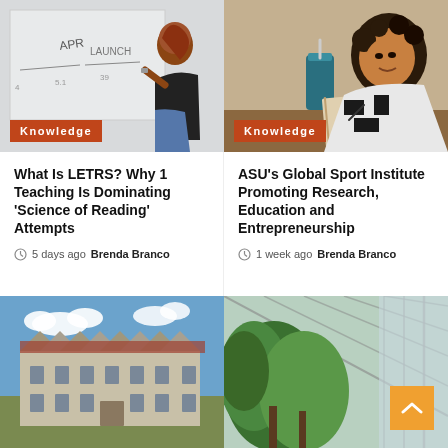[Figure (photo): Woman writing on whiteboard in classroom]
Knowledge
[Figure (photo): Woman with notebook and drink, looking at camera]
Knowledge
What Is LETRS? Why 1 Teaching Is Dominating ‘Science of Reading’ Attempts
5 days ago  Brenda Branco
ASU’s Global Sport Institute Promoting Research, Education and Entrepreneurship
1 week ago  Brenda Branco
[Figure (photo): University or government building exterior under blue sky with clouds]
[Figure (photo): Greenhouse interior with green trees and glass ceiling structure]